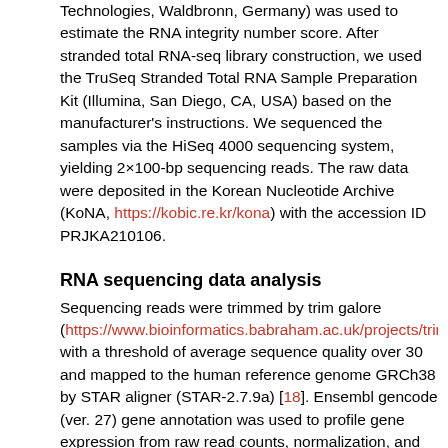Technologies, Waldbronn, Germany) was used to estimate the RNA integrity number score. After stranded total RNA-seq library construction, we used the TruSeq Stranded Total RNA Sample Preparation Kit (Illumina, San Diego, CA, USA) based on the manufacturer's instructions. We sequenced the samples via the HiSeq 4000 sequencing system, yielding 2×100-bp sequencing reads. The raw data were deposited in the Korean Nucleotide Archive (KoNA, https://kobic.re.kr/kona) with the accession ID PRJKA210106.
RNA sequencing data analysis
Sequencing reads were trimmed by trim galore (https://www.bioinformatics.babraham.ac.uk/projects/trim_galore/) with a threshold of average sequence quality over 30 and mapped to the human reference genome GRCh38 by STAR aligner (STAR-2.7.9a) [18]. Ensembl gencode (ver. 27) gene annotation was used to profile gene expression from raw read counts, normalization, and quantification by cufflinks at the gene level [19].
Single-sample gene set enrichment analysis and gene set enrichment analysis